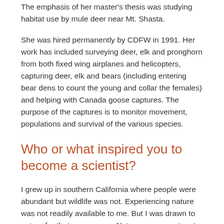The emphasis of her master's thesis was studying habitat use by mule deer near Mt. Shasta.
She was hired permanently by CDFW in 1991. Her work has included surveying deer, elk and pronghorn from both fixed wing airplanes and helicopters, capturing deer, elk and bears (including entering bear dens to count the young and collar the females) and helping with Canada goose captures. The purpose of the captures is to monitor movement, populations and survival of the various species.
Who or what inspired you to become a scientist?
I grew up in southern California where people were abundant but wildlife was not. Experiencing nature was not readily available to me. But I was drawn to nature for that very reason. Nature was a mystery to me and I needed to learn more about wildlife and the